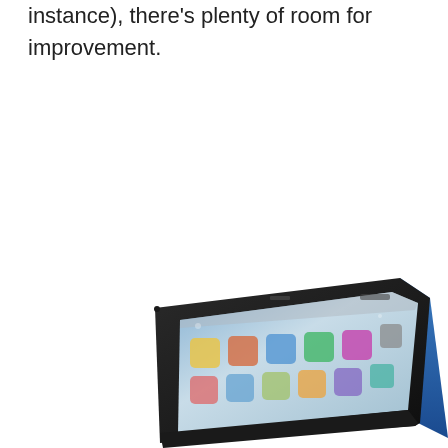instance), there's plenty of room for improvement.
[Figure (photo): A tablet device (resembling an iPad) shown in landscape orientation from a slightly above-angled perspective, displaying a home screen with colorful app icons on a dark background bezel.]